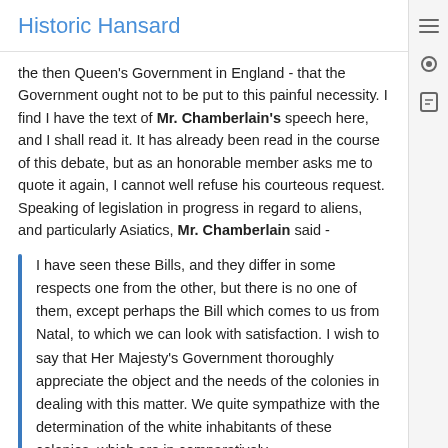Historic Hansard
the then Queen’s Government in England - that the Government ought not to be put to this painful necessity. I find I have the text of Mr. Chamberlain’s speech here, and I shall read it. It has already been read in the course of this debate, but as an honorable member asks me to quote it again, I cannot well refuse his courteous request. Speaking of legislation in progress in regard to aliens, and particularly Asiatics, Mr. Chamberlain said -
I have seen these Bills, and they differ in some respects one from the other, but there is no one of them, except perhaps the Bill which comes to us from Natal, to which we can look with satisfaction. I wish to say that Her Majesty’s Government thoroughly appreciate the object and the needs of the colonies in dealing with this matter. We quite sympathize with the determination of the white inhabitants of these colonies, which are in comparatively